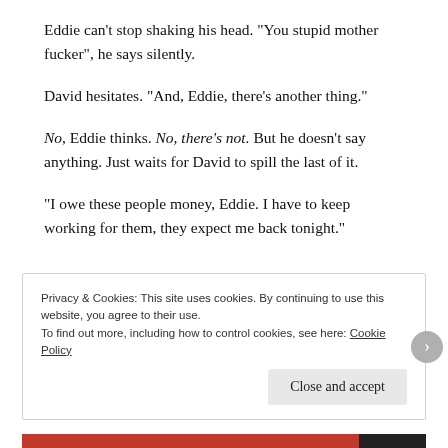Eddie can’t stop shaking his head. “You stupid mother fucker”, he says silently.
David hesitates. “And, Eddie, there’s another thing.”
No, Eddie thinks. No, there’s not. But he doesn’t say anything. Just waits for David to spill the last of it.
“I owe these people money, Eddie. I have to keep working for them, they expect me back tonight.”
Privacy & Cookies: This site uses cookies. By continuing to use this website, you agree to their use.
To find out more, including how to control cookies, see here: Cookie Policy